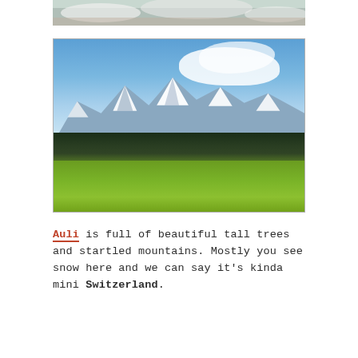[Figure (photo): Partial top view of a snowy mountain landscape, bottom portion visible]
[Figure (photo): Mountain landscape with snow-capped peaks, a treeline of tall dark trees in the middle ground, and bright green meadows in the foreground under a blue sky with white clouds]
Auli is full of beautiful tall trees and startled mountains. Mostly you see snow here and we can say it's kinda mini Switzerland.